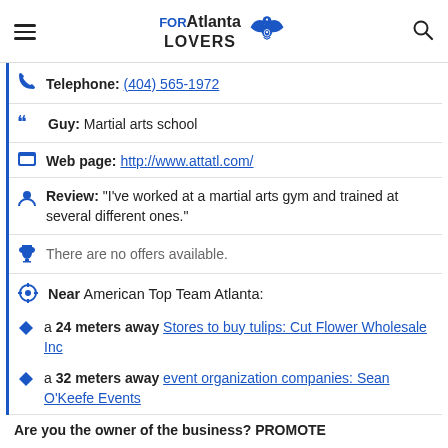FOR Atlanta LOVERS
Telephone: (404) 565-1972
Guy: Martial arts school
Web page: http://www.attatl.com/
Review: "I've worked at a martial arts gym and trained at several different ones."
There are no offers available.
Near American Top Team Atlanta:
a 24 meters away Stores to buy tulips: Cut Flower Wholesale Inc
a 32 meters away event organization companies: Sean O'Keefe Events
Are you the owner of the business? PROMOTE